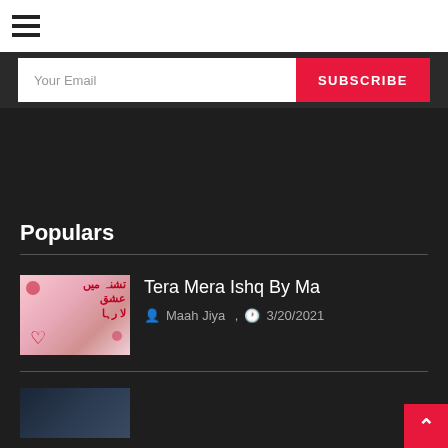☰
Your Email
SUBSCRIBE
Populars
[Figure (illustration): Thumbnail image with Urdu calligraphy text in red on pink floral background with heart symbol]
Tera Mera Ishq By Ma
Maah Jiya , 3/20/2021
[Figure (photo): Second thumbnail image, dark colored scene]